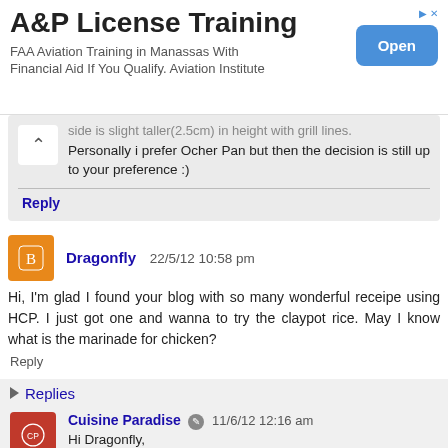[Figure (screenshot): Advertisement banner: A&P License Training. FAA Aviation Training in Manassas With Financial Aid If You Qualify. Aviation Institute. Open button.]
... side is slight taller(2.5cm) in height with grill lines. Personally i prefer Ocher Pan but then the decision is still up to your preference :)
Reply
Dragonfly 22/5/12 10:58 pm
Hi, I'm glad I found your blog with so many wonderful receipe using HCP. I just got one and wanna to try the claypot rice. May I know what is the marinade for chicken?
Reply
Replies
Cuisine Paradise 11/6/12 12:16 am
Hi Dragonfly,